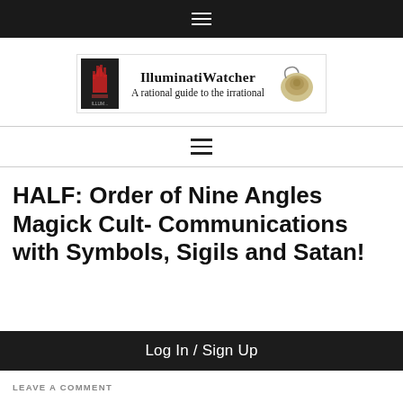≡
[Figure (logo): IlluminatiWatcher logo with book image on left, site name and tagline in center, snail/shell image on right. Text reads: IlluminatiWatcher — A rational guide to the irrational]
≡
HALF: Order of Nine Angles Magick Cult- Communications with Symbols, Sigils and Satan!
Log In / Sign Up
LEAVE A COMMENT